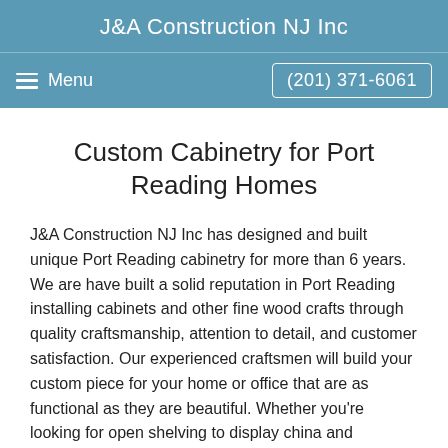J&A Construction NJ Inc
Menu  (201) 371-6061
Custom Cabinetry for Port Reading Homes
J&A Construction NJ Inc has designed and built unique Port Reading cabinetry for more than 6 years. We are have built a solid reputation in Port Reading installing cabinets and other fine wood crafts through quality craftsmanship, attention to detail, and customer satisfaction. Our experienced craftsmen will build your custom piece for your home or office that are as functional as they are beautiful. Whether you're looking for open shelving to display china and stemware or cabinets with